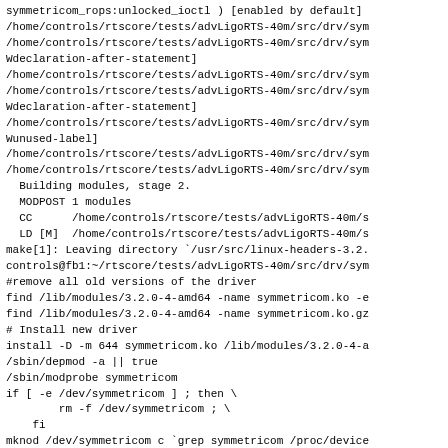symmetricom_rops:unlocked_ioctl ) [enabled by default]
/home/controls/rtscore/tests/advLigoRTS-40m/src/drv/sym
/home/controls/rtscore/tests/advLigoRTS-40m/src/drv/sym
Wdeclaration-after-statement]
/home/controls/rtscore/tests/advLigoRTS-40m/src/drv/sym
/home/controls/rtscore/tests/advLigoRTS-40m/src/drv/sym
Wdeclaration-after-statement]
/home/controls/rtscore/tests/advLigoRTS-40m/src/drv/sym
Wunused-label]
/home/controls/rtscore/tests/advLigoRTS-40m/src/drv/sym
/home/controls/rtscore/tests/advLigoRTS-40m/src/drv/sym
  Building modules, stage 2.
  MODPOST 1 modules
  CC      /home/controls/rtscore/tests/advLigoRTS-40m/s
  LD [M]  /home/controls/rtscore/tests/advLigoRTS-40m/s
make[1]: Leaving directory `/usr/src/linux-headers-3.2.
controls@fb1:~/rtscore/tests/advLigoRTS-40m/src/drv/sym
#remove all old versions of the driver
find /lib/modules/3.2.0-4-amd64 -name symmetricom.ko -e
find /lib/modules/3.2.0-4-amd64 -name symmetricom.ko.gz
# Install new driver
install -D -m 644 symmetricom.ko /lib/modules/3.2.0-4-a
/sbin/depmod -a || true
/sbin/modprobe symmetricom
if [ -e /dev/symmetricom ] ; then \
        rm -f /dev/symmetricom ; \
    fi
mknod /dev/symmetricom c `grep symmetricom /proc/device
chown controls /dev/symmetricom
controls@fb1:~/rtscore/tests/advLigoRTS-40m/src/drv/sym
/dev/symmetricom